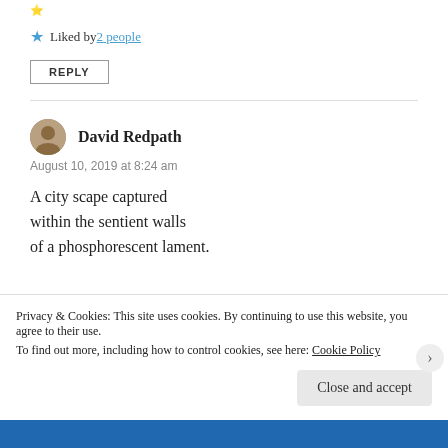Liked by 2 people
REPLY
David Redpath
August 10, 2019 at 8:24 am
A city scape captured within the sentient walls of a phosphorescent lament.
Privacy & Cookies: This site uses cookies. By continuing to use this website, you agree to their use. To find out more, including how to control cookies, see here: Cookie Policy
Close and accept